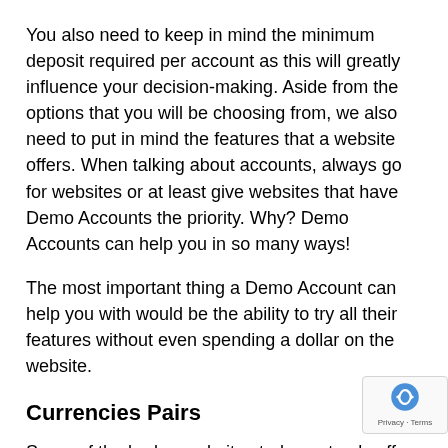You also need to keep in mind the minimum deposit required per account as this will greatly influence your decision-making. Aside from the options that you will be choosing from, we also need to put in mind the features that a website offers. When talking about accounts, always go for websites or at least give websites that have Demo Accounts the priority. Why? Demo Accounts can help you in so many ways!
The most important thing a Demo Account can help you with would be the ability to try all their features without even spending a dollar on the website.
Currencies Pairs
Some of the broker websites today not only offer crypto currency trading, but they also offer stocks, commodities, and Fiat trading. Do not get yourself confused on what you are there for, which is crypto currency. Know what they have